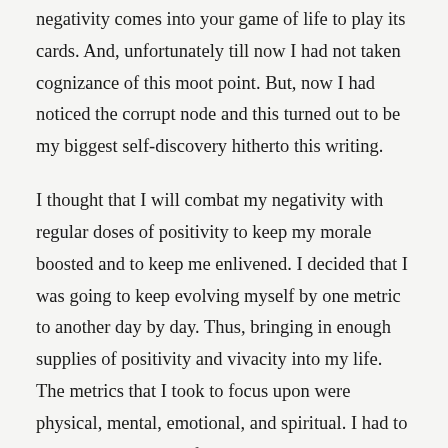negativity comes into your game of life to play its cards. And, unfortunately till now I had not taken cognizance of this moot point. But, now I had noticed the corrupt node and this turned out to be my biggest self-discovery hitherto this writing.
I thought that I will combat my negativity with regular doses of positivity to keep my morale boosted and to keep me enlivened. I decided that I was going to keep evolving myself by one metric to another day by day. Thus, bringing in enough supplies of positivity and vivacity into my life. The metrics that I took to focus upon were physical, mental, emotional, and spiritual. I had to ensure that I kept performing tasks